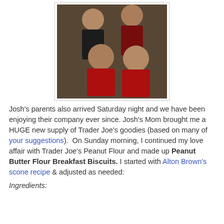[Figure (photo): Group photo of four women in athletic wear, two wearing red tops and two wearing black tops, posing together indoors.]
Josh's parents also arrived Saturday night and we have been enjoying their company ever since. Josh's Mom brought me a HUGE new supply of Trader Joe's goodies (based on many of your suggestions).  On Sunday morning, I continued my love affair with Trader Joe's Peanut Flour and made up Peanut Butter Flour Breakfast Biscuits. I started with Alton Brown's scone recipe & adjusted as needed:
Ingredients: